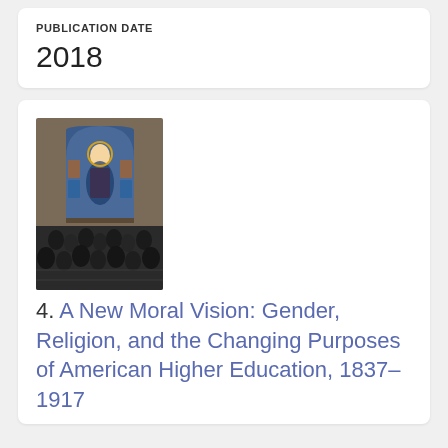PUBLICATION DATE
2018
[Figure (illustration): Book cover of 'A New Moral Vision: Gender, Religion, and the Changing Purposes of American Higher Education, 1837-1917' by Andrea L. Turpin. Cover shows a stained glass window with a religious figure and a crowd of people below.]
4. A New Moral Vision: Gender, Religion, and the Changing Purposes of American Higher Education, 1837–1917